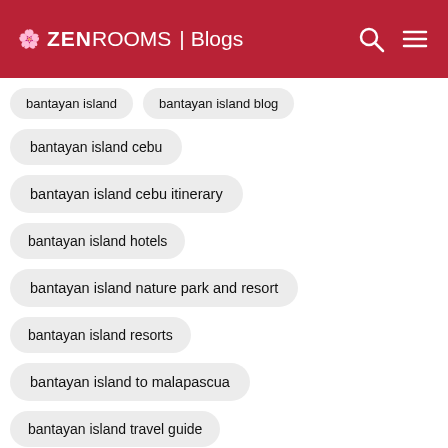ZEN ROOMS | Blogs
bantayan island
bantayan island blog
bantayan island cebu
bantayan island cebu itinerary
bantayan island hotels
bantayan island nature park and resort
bantayan island resorts
bantayan island to malapascua
bantayan island travel guide
bantayan resorts
bar